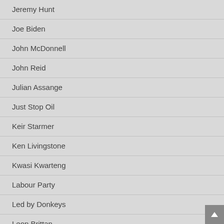Jeremy Hunt
Joe Biden
John McDonnell
John Reid
Julian Assange
Just Stop Oil
Keir Starmer
Ken Livingstone
Kwasi Kwarteng
Labour Party
Led by Donkeys
Leon Brittan
Liam Fox